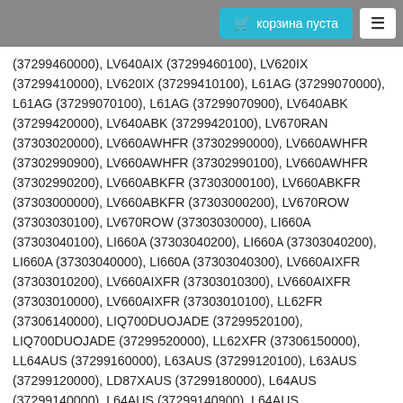корзина пуста
(37299460000), LV640AIX (37299460100), LV620IX (37299410000), LV620IX (37299410100), L61AG (37299070000), L61AG (37299070100), L61AG (37299070900), LV640ABK (37299420000), LV640ABK (37299420100), LV670RAN (37303020000), LV660AWHFR (37302990000), LV660AWHFR (37302990900), LV660AWHFR (37302990100), LV660AWHFR (37302990200), LV660ABKFR (37303000100), LV660ABKFR (37303000000), LV660ABKFR (37303000200), LV670ROW (37303030100), LV670ROW (37303030000), LI660A (37303040100), LI660A (37303040200), LI660A (37303040200), LI660A (37303040000), LI660A (37303040300), LV660AIXFR (37303010200), LV660AIXFR (37303010300), LV660AIXFR (37303010000), LV660AIXFR (37303010100), LL62FR (37306140000), LIQ700DUOJADE (37299520100), LIQ700DUOJADE (37299520000), LL62XFR (37306150000), LL64AUS (37299160000), L63AUS (37299120100), L63AUS (37299120000), LD87XAUS (37299180000), L64AUS (37299140000), L64AUS (37299140900), L64AUS (37299141000), L64XAUS (37299150000), L64XAUS (37299150100), LL64XAUS (37299170000), L63XAUS